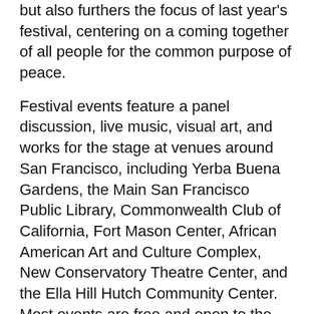but also furthers the focus of last year's festival, centering on a coming together of all people for the common purpose of peace.
Festival events feature a panel discussion, live music, visual art, and works for the stage at venues around San Francisco, including Yerba Buena Gardens, the Main San Francisco Public Library, Commonwealth Club of California, Fort Mason Center, African American Art and Culture Complex, New Conservatory Theatre Center, and the Ella Hill Hutch Community Center. Most events are free and open to the public.
[Figure (photo): A photograph showing a framed portrait painting hanging on a dark wood-paneled wall, flanked by candles, with a window visible on the right side.]